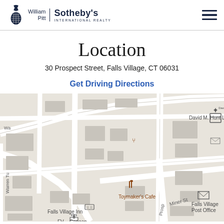William Pitt | Sotheby's International Realty
Location
30 Prospect Street, Falls Village, CT 06031
Get Driving Directions
[Figure (map): Street map of Falls Village, CT showing location at 30 Prospect Street. Visible landmarks include David M. Hunt Library, Toymaker's Cafe, Falls Village Inn, Falls Village Post Office, and FV-Canaan Historical Society. Streets visible include Miner St, Warren Turnpike, and Prospect Street.]